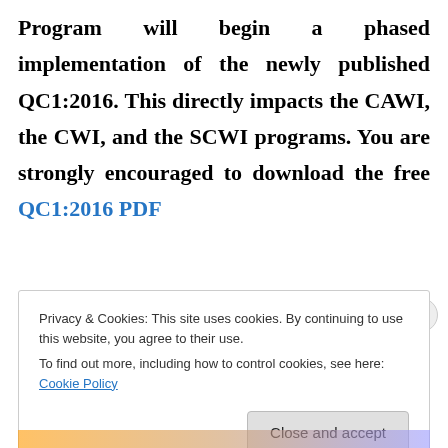Program will begin a phased implementation of the newly published QC1:2016. This directly impacts the CAWI, the CWI, and the SCWI programs. You are strongly encouraged to download the free QC1:2016 PDF
Privacy & Cookies: This site uses cookies. By continuing to use this website, you agree to their use. To find out more, including how to control cookies, see here: Cookie Policy
Close and accept